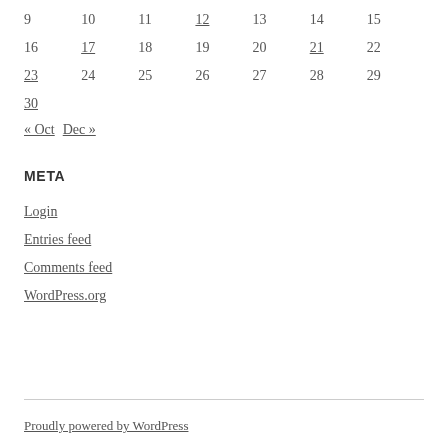| 9 | 10 | 11 | 12 | 13 | 14 | 15 |
| 16 | 17 | 18 | 19 | 20 | 21 | 22 |
| 23 | 24 | 25 | 26 | 27 | 28 | 29 |
| 30 |  |  |  |  |  |  |
« Oct   Dec »
META
Login
Entries feed
Comments feed
WordPress.org
Proudly powered by WordPress